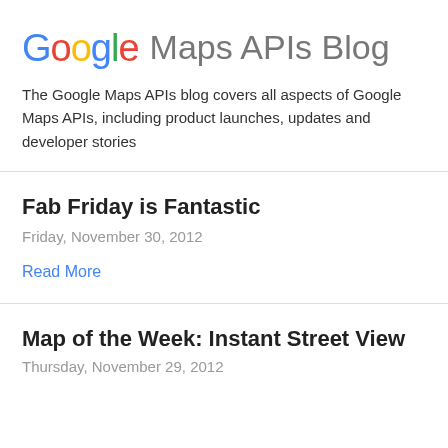Google Maps APIs Blog
The Google Maps APIs blog covers all aspects of Google Maps APIs, including product launches, updates and developer stories
Fab Friday is Fantastic
Friday, November 30, 2012
Read More
Map of the Week: Instant Street View
Thursday, November 29, 2012